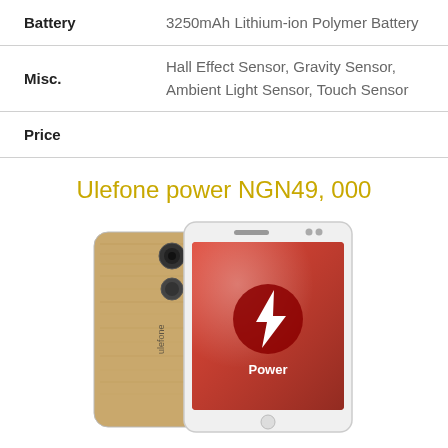| Feature | Description |
| --- | --- |
| Battery | 3250mAh Lithium-ion Polymer Battery |
| Misc. | Hall Effect Sensor, Gravity Sensor, Ambient Light Sensor, Touch Sensor |
| Price |  |
Ulefone power NGN49, 000
[Figure (photo): Ulefone Power smartphone shown from two angles: back view showing gold/wood textured panel with camera and fingerprint sensor, and front view showing red screen with Power logo and lightning bolt icon.]